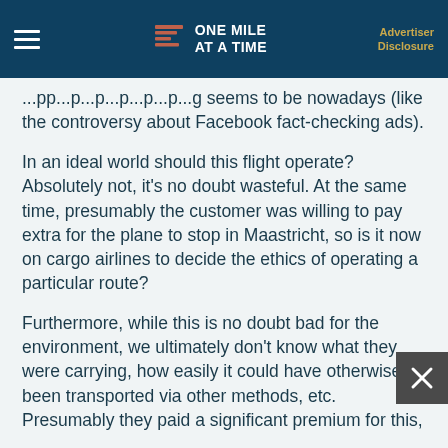ONE MILE AT A TIME | Advertiser Disclosure
seems to be nowadays (like the controversy about Facebook fact-checking ads).
In an ideal world should this flight operate? Absolutely not, it's no doubt wasteful. At the same time, presumably the customer was willing to pay extra for the plane to stop in Maastricht, so is it now on cargo airlines to decide the ethics of operating a particular route?
Furthermore, while this is no doubt bad for the environment, we ultimately don't know what they were carrying, how easily it could have otherwise been transported via other methods, etc. Presumably they paid a significant premium for this,